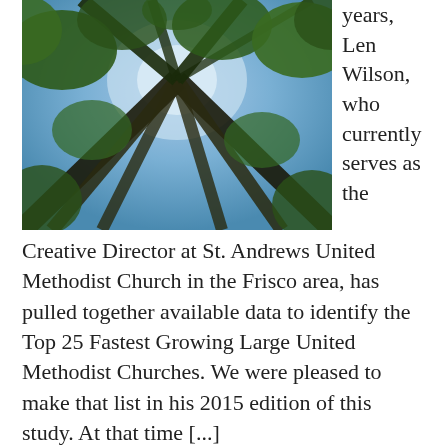[Figure (photo): Looking upward through tall trees with green foliage and blue sky visible between the branches.]
years, Len Wilson, who currently serves as the Creative Director at St. Andrews United Methodist Church in the Frisco area, has pulled together available data to identify the Top 25 Fastest Growing Large United Methodist Churches. We were pleased to make that list in his 2015 edition of this study. At that time [...]
Filed Under: notes